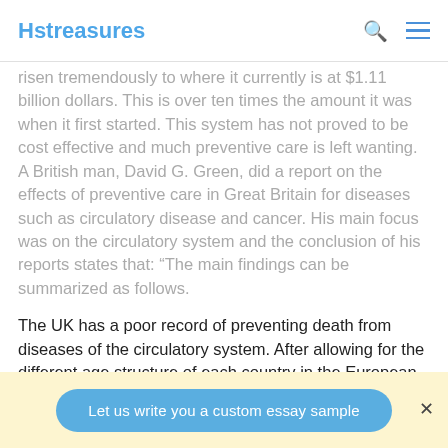Hstreasures
risen tremendously to where it currently is at $1.11 billion dollars. This is over ten times the amount it was when it first started. This system has not proved to be cost effective and much preventive care is left wanting. A British man, David G. Green, did a report on the effects of preventive care in Great Britain for diseases such as circulatory disease and cancer. His main focus was on the circulatory system and the conclusion of his reports states that: “The main findings can be summarized as follows.
The UK has a poor record of preventing death from diseases of the circulatory system. After allowing for the different age structure of each country in the European
Let us write you a custom essay sample